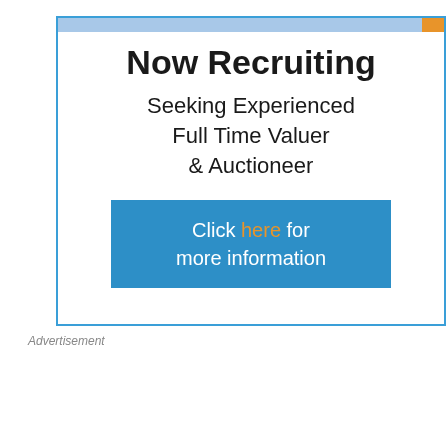[Figure (infographic): Recruitment advertisement with blue border, decorative top bar (light blue and orange), heading 'Now Recruiting', subtitle 'Seeking Experienced Full Time Valuer & Auctioneer', and a blue button 'Click here for more information']
Advertisement
[Figure (infographic): Clevedon Salerooms banner advertisement with logo (kangaroo icon and CLEVEDON SALEROOMS text) and text 'Now Recruiting Accounts Manager']